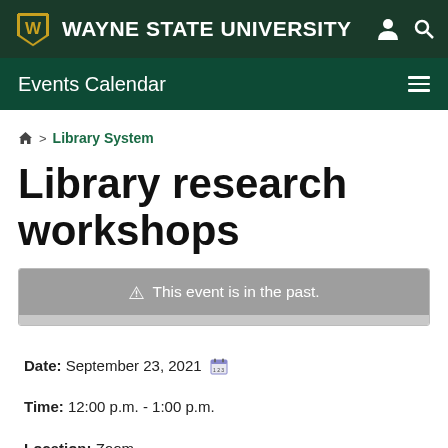WAYNE STATE UNIVERSITY
Events Calendar
Home > Library System
Library research workshops
⚠ This event is in the past.
Date: September 23, 2021
Time: 12:00 p.m. - 1:00 p.m.
Location: Zoom